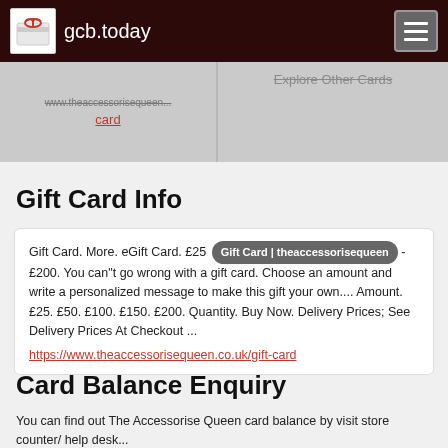gcb.today
[Figure (screenshot): Two greyed-out card panels: left shows a struck-through URL 'www.theaccessorisequeen...' with red 'card' link below; right shows struck-through 'Explore Other Cards' text]
Gift Card Info
Gift Card. More. eGift Card. £25 [Gift Card | theaccessorisequeen] - £200. You can"t go wrong with a gift card. Choose an amount and write a personalized message to make this gift your own.... Amount. £25. £50. £100. £150. £200. Quantity. Buy Now. Delivery Prices; See Delivery Prices At Checkout ... https://www.theaccessorisequeen.co.uk/gift-card
Card Balance Enquiry
You can find out The Accessorise Queen card balance by visit store counter/ help desk...